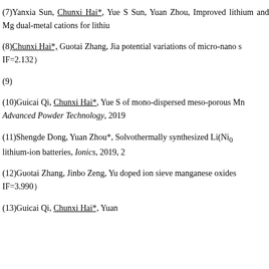(7)Yanxia Sun, Chunxi Hai*, Yue S Sun, Yuan Zhou, Improved lithium and Mg dual-metal cations for lithiu
(8)Chunxi Hai*, Guotai Zhang, Jia potential variations of micro-nano s IF=2.132
(9) [Chinese text underlined]
(10)Guicai Qi, Chunxi Hai*, Yue S of mono-dispersed meso-porous Mn Advanced Powder Technology, 2019
(11)Shengde Dong, Yuan Zhou*, Solvothermally synthesized Li(Ni lithium-ion batteries, Ionics, 2019, 2
(12)Guotai Zhang, Jinbo Zeng, Yu doped ion sieve manganese oxides IF=3.990
(13)Guicai Qi, Chunxi Hai*, Yuan